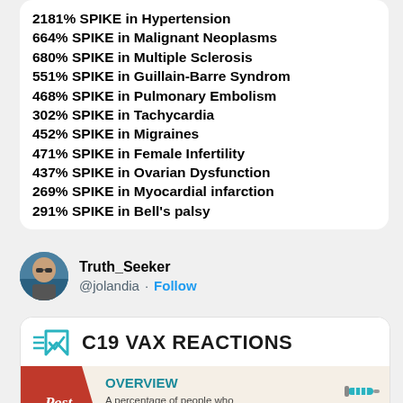2181% SPIKE in Hypertension
664% SPIKE in Malignant Neoplasms
680% SPIKE in Multiple Sclerosis
551% SPIKE in Guillain-Barre Syndrome
468% SPIKE in Pulmonary Embolism
302% SPIKE in Tachycardia
452% SPIKE in Migraines
471% SPIKE in Female Infertility
437% SPIKE in Ovarian Dysfunction
269% SPIKE in Myocardial infarction
291% SPIKE in Bell's palsy
Truth_Seeker
@jolandia · Follow
[Figure (infographic): C19 VAX REACTIONS infographic with logo showing a stylized checkmark/V symbol in teal, bold black text 'C19 VAX REACTIONS', and a sub-panel with a red ribbon labeled 'Post', an OVERVIEW section with a syringe icon stating 'A percentage of people who had the Covid vaccine are suffering with debilitating, long-lasting symptoms.']